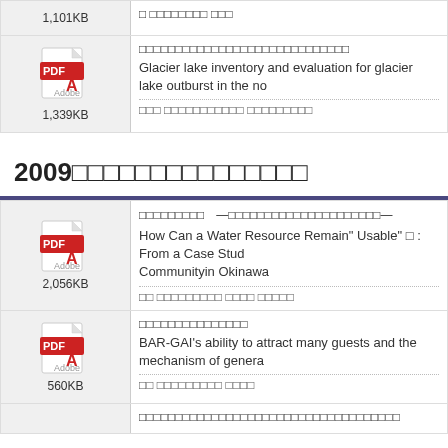1,101KB — [Japanese title] / [Japanese authors]
1,339KB — [Japanese title] / Glacier lake inventory and evaluation for glacier lake outburst in the no... / [Japanese authors]
2009年度（平成21年度）研究発表
2,056KB — [Japanese title] —[Japanese subtitle]— / How Can a Water Resource Remain Usable? : From a Case Study Communityin Okinawa / [Japanese authors]
560KB — [Japanese title] / BAR-GAI's ability to attract many guests and the mechanism of genera... / [Japanese authors]
[Japanese title]